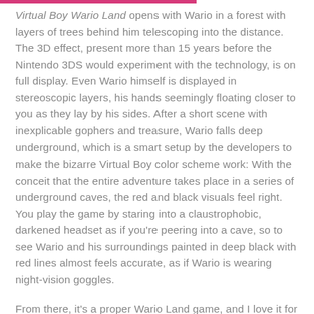Virtual Boy Wario Land opens with Wario in a forest with layers of trees behind him telescoping into the distance. The 3D effect, present more than 15 years before the Nintendo 3DS would experiment with the technology, is on full display. Even Wario himself is displayed in stereoscopic layers, his hands seemingly floating closer to you as they lay by his sides. After a short scene with inexplicable gophers and treasure, Wario falls deep underground, which is a smart setup by the developers to make the bizarre Virtual Boy color scheme work: With the conceit that the entire adventure takes place in a series of underground caves, the red and black visuals feel right. You play the game by staring into a claustrophobic, darkened headset as if you're peering into a cave, so to see Wario and his surroundings painted in deep black with red lines almost feels accurate, as if Wario is wearing night-vision goggles.
From there, it's a proper Wario Land game, and I love it for that. Playing it felt like discovering an unfamiliar album from a beloved band, or watching an old film I didn't know was made by my